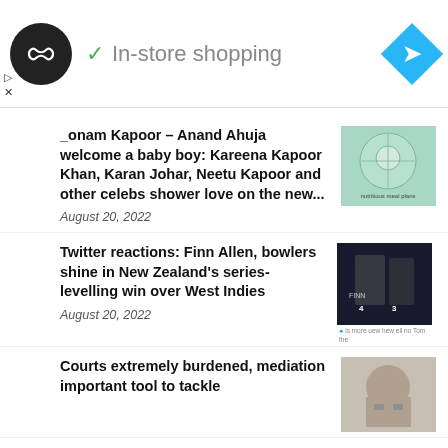[Figure (screenshot): Ad banner with circular dark logo with infinity-like symbol, checkmark, 'In-store shopping' text, and blue diamond navigation icon]
Sonam Kapoor – Anand Ahuja welcome a baby boy: Kareena Kapoor Khan, Karan Johar, Neetu Kapoor and other celebs shower love on the new...
August 20, 2022
Twitter reactions: Finn Allen, bowlers shine in New Zealand's series-levelling win over West Indies
August 20, 2022
Courts extremely burdened, mediation important tool to tackle